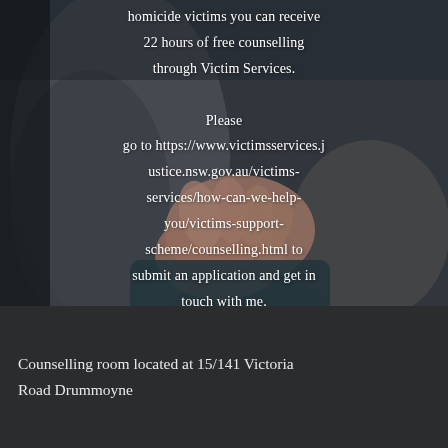[Figure (photo): Dark-toned photo of two people's hands clasped together, wearing casual clothing (denim/grey jacket), shot from above with blurred background]
homicide victims you can receive 22 hours of free counselling through Victim Services. Please go to https://www.victimsservices.justice.nsw.gov.au/victims-services/how-can-we-help-you/victims-support-scheme/counselling.html to submit an application and get in touch with me.
Counselling room located at 15/141 Victoria Road Drummoyne